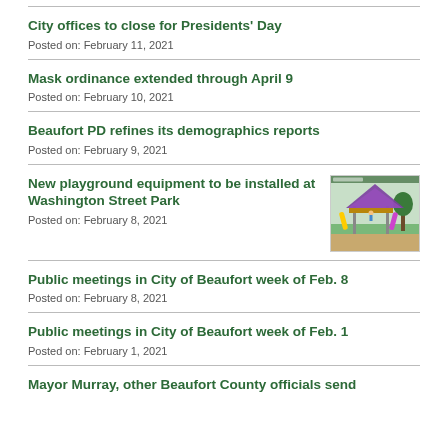City offices to close for Presidents' Day
Posted on: February 11, 2021
Mask ordinance extended through April 9
Posted on: February 10, 2021
Beaufort PD refines its demographics reports
Posted on: February 9, 2021
New playground equipment to be installed at Washington Street Park
Posted on: February 8, 2021
[Figure (photo): Rendering of colorful playground equipment with purple canopy at Washington Street Park]
Public meetings in City of Beaufort week of Feb. 8
Posted on: February 8, 2021
Public meetings in City of Beaufort week of Feb. 1
Posted on: February 1, 2021
Mayor Murray, other Beaufort County officials send